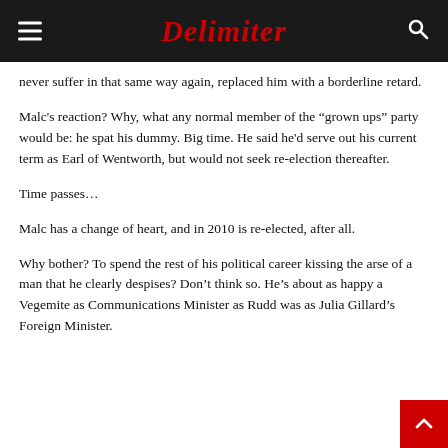Delimiter
never suffer in that same way again, replaced him with a borderline retard.
Malc's reaction? Why, what any normal member of the “grown ups” party would be: he spat his dummy. Big time. He said he'd serve out his current term as Earl of Wentworth, but would not seek re-election thereafter.
Time passes…
Malc has a change of heart, and in 2010 is re-elected, after all.
Why bother? To spend the rest of his political career kissing the arse of a man that he clearly despises? Don’t think so. He’s about as happy a Vegemite as Communications Minister as Rudd was as Julia Gillard’s Foreign Minister.